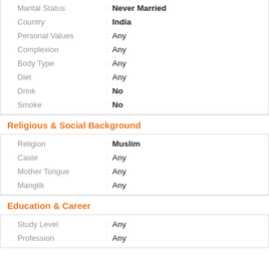Marital Status : Never Married
Country : India
Personal Values : Any
Complexion : Any
Body Type : Any
Diet : Any
Drink : No
Smoke : No
Religious & Social Background
Religion : Muslim
Caste : Any
Mother Tongue : Any
Manglik : Any
Education & Career
Study Level : Any
Profession : Any